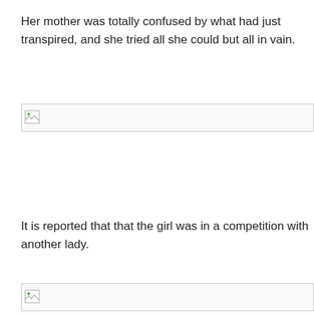Her mother was totally confused by what had just transpired, and she tried all she could but all in vain.
[Figure (other): Broken image placeholder with border]
It is reported that that the girl was in a competition with another lady.
[Figure (other): Broken image placeholder with border]